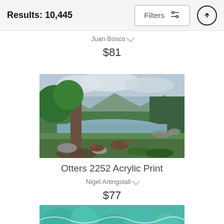Results: 10,445
Filters
Juan Bosco
$81
[Figure (photo): Landscape painting showing two otters resting near a large tree beside a calm river or lake, with mountains and green forest in the background under a cloudy sky.]
Otters 2252 Acrylic Print
Nigel Artingstall
$77
[Figure (photo): Partial view of a colorful artwork with teal, green, and turquoise abstract patterns.]